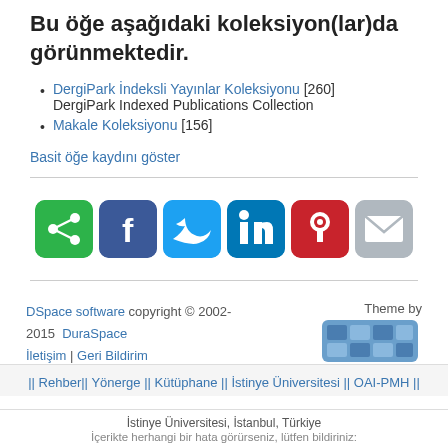Bu öğe aşağıdaki koleksiyon(lar)da görünmektedir.
DergiPark İndeksli Yayınlar Koleksiyonu [260]
DergiPark Indexed Publications Collection
Makale Koleksiyonu [156]
Basit öğe kaydını göster
[Figure (infographic): Social share buttons: share (green), Facebook (dark blue), Twitter (light blue), LinkedIn (mid blue), Pinterest (red), Email (gray)]
DSpace software copyright © 2002-2015  DuraSpace
İletişim | Geri Bildirim
[Figure (logo): @MIRE theme logo with blue mosaic icon]
|| Rehber|| Yönerge || Kütüphane || İstinye Üniversitesi || OAI-PMH ||
İstinye Üniversitesi, İstanbul, Türkiye
İçerikte herhangi bir hata görürseniz, lütfen bildiriniz: